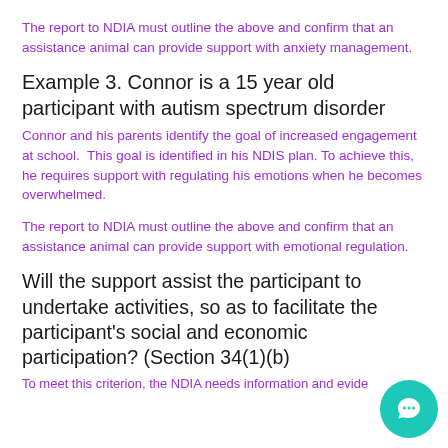The report to NDIA must outline the above and confirm that an assistance animal can provide support with anxiety management.
Example 3. Connor is a 15 year old participant with autism spectrum disorder
Connor and his parents identify the goal of increased engagement at school.  This goal is identified in his NDIS plan. To achieve this, he requires support with regulating his emotions when he becomes overwhelmed.
The report to NDIA must outline the above and confirm that an assistance animal can provide support with emotional regulation.
Will the support assist the participant to undertake activities, so as to facilitate the participant's social and economic participation? (Section 34(1)(b)
To meet this criterion, the NDIA needs information and evide